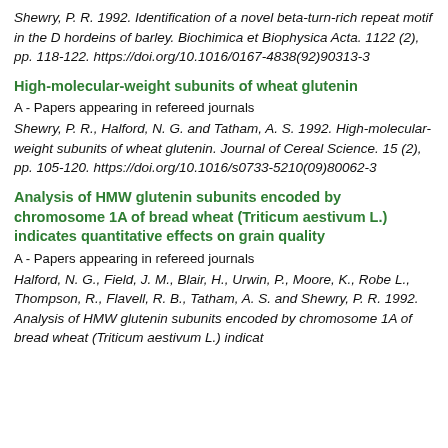Shewry, P. R. 1992. Identification of a novel beta-turn-rich repeat motif in the D hordeins of barley. Biochimica et Biophysica Acta. 1122 (2), pp. 118-122. https://doi.org/10.1016/0167-4838(92)90313-3
High-molecular-weight subunits of wheat glutenin
A - Papers appearing in refereed journals
Shewry, P. R., Halford, N. G. and Tatham, A. S. 1992. High-molecular-weight subunits of wheat glutenin. Journal of Cereal Science. 15 (2), pp. 105-120. https://doi.org/10.1016/s0733-5210(09)80062-3
Analysis of HMW glutenin subunits encoded by chromosome 1A of bread wheat (Triticum aestivum L.) indicates quantitative effects on grain quality
A - Papers appearing in refereed journals
Halford, N. G., Field, J. M., Blair, H., Urwin, P., Moore, K., Robe L., Thompson, R., Flavell, R. B., Tatham, A. S. and Shewry, P. R. 1992. Analysis of HMW glutenin subunits encoded by chromosome 1A of bread wheat (Triticum aestivum L.) indica